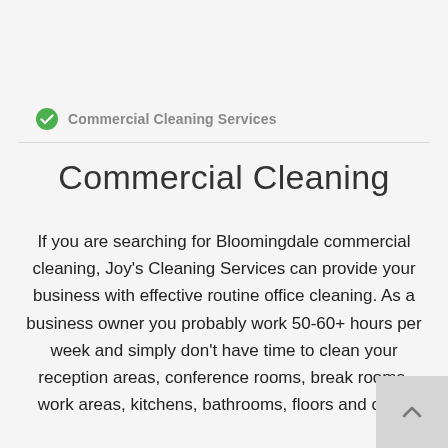Commercial Cleaning Services
Commercial Cleaning
If you are searching for Bloomingdale commercial cleaning, Joy's Cleaning Services can provide your business with effective routine office cleaning. As a business owner you probably work 50-60+ hours per week and simply don't have time to clean your reception areas, conference rooms, break rooms, work areas, kitchens, bathrooms, floors and other